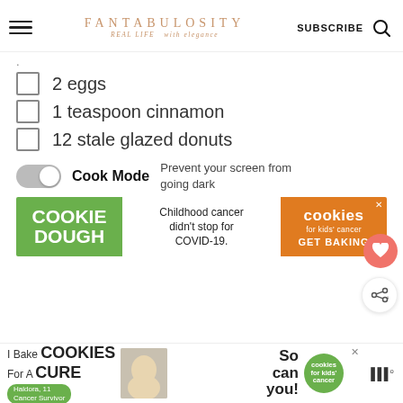FANTABULOSITY — REAL LIFE with elegance | SUBSCRIBE
2 eggs
1 teaspoon cinnamon
12 stale glazed donuts
Cook Mode — Prevent your screen from going dark
[Figure (other): Cookie Dough – Childhood cancer didn't stop for COVID-19. cookies for kids' cancer GET BAKING advertisement banner]
[Figure (other): I Bake COOKIES For A CURE – Haldora, 11 Cancer Survivor – So can you! cookies for kids' cancer advertisement banner]